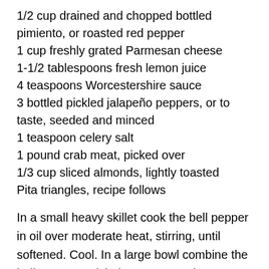1/2 cup drained and chopped bottled pimiento, or roasted red pepper
1 cup freshly grated Parmesan cheese
1-1/2 tablespoons fresh lemon juice
4 teaspoons Worcestershire sauce
3 bottled pickled jalapeño peppers, or to taste, seeded and minced
1 teaspoon celery salt
1 pound crab meat, picked over
1/3 cup sliced almonds, lightly toasted
Pita triangles, recipe follows
In a small heavy skillet cook the bell pepper in oil over moderate heat, stirring, until softened. Cool. In a large bowl combine the bell pepper, artichokes, mayonnaise, scallions, pimiento, Parmesan, lemon juice, Worcestershire sauce, jalapeño peppers and celery salt.